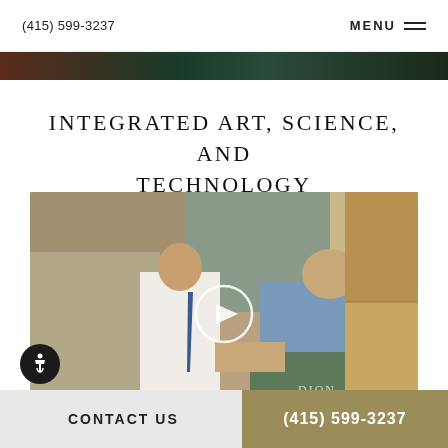(415) 599-3237  MENU
[Figure (photo): Dark decorative hero strip showing plants and foliage]
INTEGRATED ART, SCIENCE, AND TECHNOLOGY
[Figure (photo): Video thumbnail showing a doctor in white shirt and tie shaking hands with a patient in a dental/medical office setting. A white play button circle overlay is in the center. AS logo bottom-left, DION HEALTH logo bottom-right.]
CONTACT US  (415) 599-3237